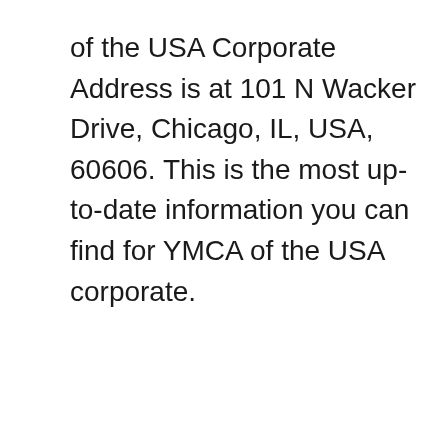of the USA Corporate Address is at 101 N Wacker Drive, Chicago, IL, USA, 60606. This is the most up-to-date information you can find for YMCA of the USA corporate.